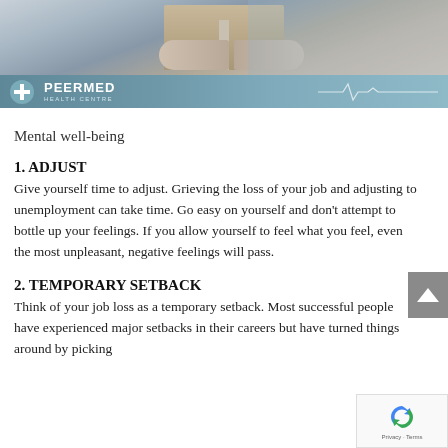[Figure (photo): Header image showing a person holding a book, with Peermed Health Centre logo banner below featuring a cross icon and ECG line graphic on a teal/blue-grey background.]
Mental well-being
1. ADJUST
Give yourself time to adjust. Grieving the loss of your job and adjusting to unemployment can take time. Go easy on yourself and don't attempt to bottle up your feelings. If you allow yourself to feel what you feel, even the most unpleasant, negative feelings will pass.
2. TEMPORARY SETBACK
Think of your job loss as a temporary setback. Most successful people have experienced major setbacks in their careers but have turned things around by picking